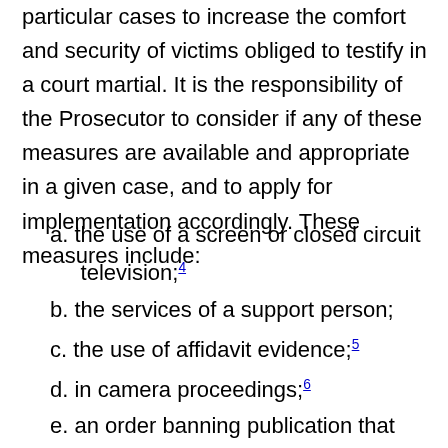particular cases to increase the comfort and security of victims obliged to testify in a court martial. It is the responsibility of the Prosecutor to consider if any of these measures are available and appropriate in a given case, and to apply for implementation accordingly. These measures include:
a. the use of a screen or closed circuit television;4
b. the services of a support person;
c. the use of affidavit evidence;5
d. in camera proceedings;6
e. an order banning publication that might identify the victim;7